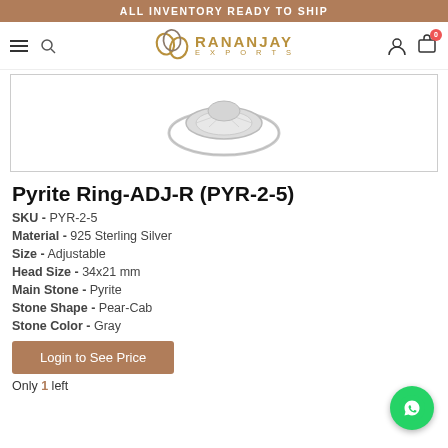ALL INVENTORY READY TO SHIP
[Figure (logo): Rananjay Exports logo with stylized RJ monogram and gold text]
[Figure (photo): Silver pyrite ring product photo on white background]
Pyrite Ring-ADJ-R (PYR-2-5)
SKU - PYR-2-5
Material - 925 Sterling Silver
Size - Adjustable
Head Size - 34x21 mm
Main Stone - Pyrite
Stone Shape - Pear-Cab
Stone Color - Gray
Login to See Price
Only 1 left